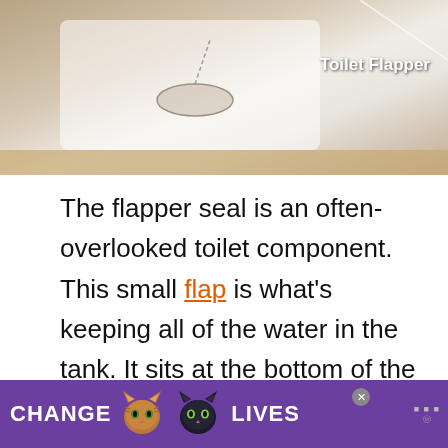[Figure (photo): Photo of a toilet flapper component inside the tank, with label 'Toilet Flapper' in white bold text on the right side of the image.]
The flapper seal is an often-overlooked toilet component. This small flap is what's keeping all of the water in the tank. It sits at the bottom of the bowl and connects to the toilet handle. When you flush, the flapper lifts up to let the water surge into the
[Figure (screenshot): Advertisement banner with purple background showing 'CHANGE LIVES' text with two cat faces in the middle, a close button (X), and a logo on the right.]